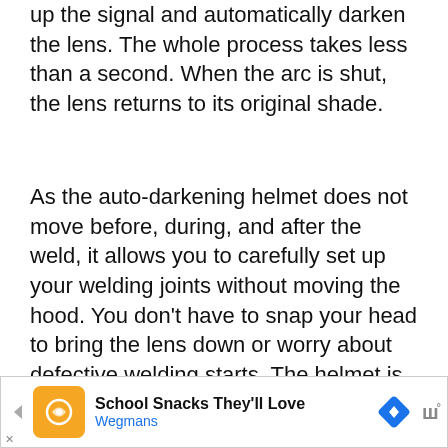up the signal and automatically darken the lens. The whole process takes less than a second. When the arc is shut, the lens returns to its original shade.
As the auto-darkening helmet does not move before, during, and after the weld, it allows you to carefully set up your welding joints without moving the hood. You don’t have to snap your head to bring the lens down or worry about defective welding starts. The helmet is especially useful for tack welds. There is also no risk of seeing the arc inadvertently due to problems with the hood.
The auto-darkening helmet improves weld quality. It also allows you to check...
[Figure (other): Advertisement banner for Wegmans School Snacks featuring orange logo icon, navigation arrow icons, and text 'School Snacks They'll Love' with 'Wegmans' subtitle]